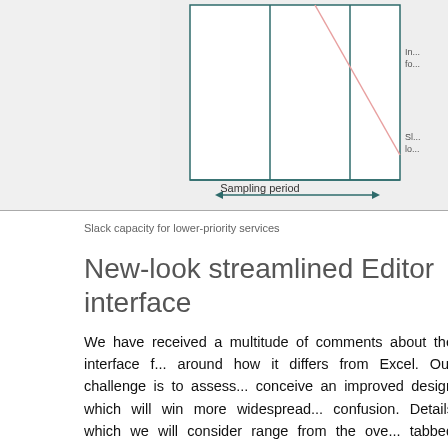[Figure (engineering-diagram): A timing/scheduling diagram showing a sampling period with a diagonal pink line descending from top-right, vertical dark teal lines, and annotations 'In... fo...' and 'Sl... lo...' on the right side. The x-axis shows 'Sampling period' with a double-headed arrow.]
Slack capacity for lower-priority services
New-look streamlined Editor interface
We have received a multitude of comments about the interface f... around how it differs from Excel. Our challenge is to assess... conceive an improved design which will win more widespread... confusion. Details which we will consider range from the ove... tabbed dialogs and so on, through to the microscopic details li... time-series parameters, and whether you should need to press <E...